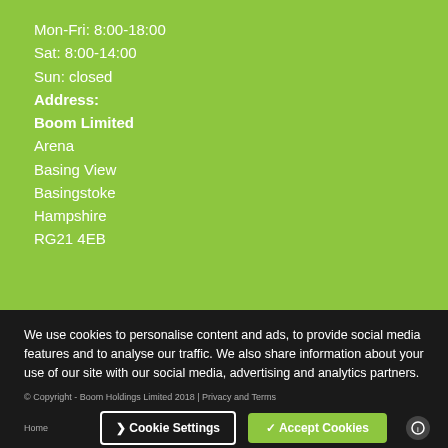Mon-Fri: 8:00-18:00
Sat: 8:00-14:00
Sun: closed
Address:
Boom Limited
Arena
Basing View
Basingstoke
Hampshire
RG21 4EB
We use cookies to personalise content and ads, to provide social media features and to analyse our traffic. We also share information about your use of our site with our social media, advertising and analytics partners.
© Copyright - Boom Holdings Limited 2018 | Privacy and Terms